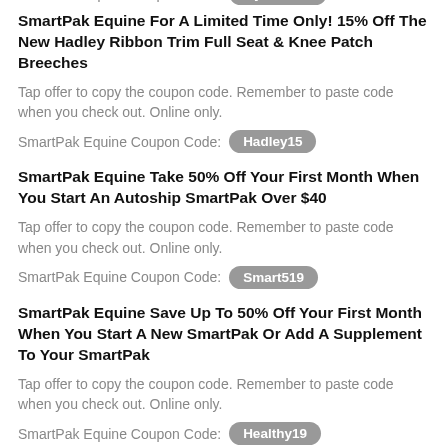SmartPak Equine Coupon Code: [MyBestBet]
SmartPak Equine For A Limited Time Only! 15% Off The New Hadley Ribbon Trim Full Seat & Knee Patch Breeches
Tap offer to copy the coupon code. Remember to paste code when you check out. Online only.
SmartPak Equine Coupon Code: Hadley15
SmartPak Equine Take 50% Off Your First Month When You Start An Autoship SmartPak Over $40
Tap offer to copy the coupon code. Remember to paste code when you check out. Online only.
SmartPak Equine Coupon Code: Smart519
SmartPak Equine Save Up To 50% Off Your First Month When You Start A New SmartPak Or Add A Supplement To Your SmartPak
Tap offer to copy the coupon code. Remember to paste code when you check out. Online only.
SmartPak Equine Coupon Code: Healthy19